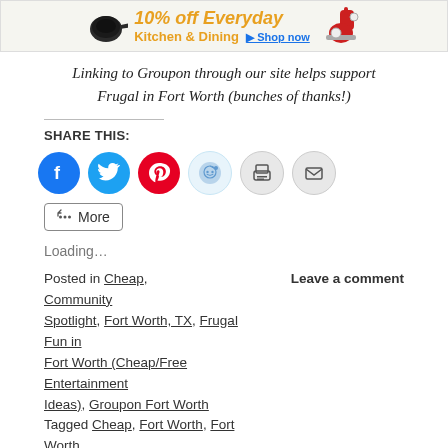[Figure (other): Advertisement banner for Kitchen & Dining with pan and mixer images, showing 'Kitchen & Dining' text in orange and 'Shop now' link]
Linking to Groupon through our site helps support
Frugal in Fort Worth (bunches of thanks!)
SHARE THIS:
[Figure (infographic): Social share buttons: Facebook (blue circle), Twitter (light blue circle), Pinterest (red circle), Reddit (light blue circle), Print (grey circle), Email (grey circle), and More button]
Loading...
Posted in Cheap, Community Spotlight, Fort Worth, TX, Frugal Fun in Fort Worth (Cheap/Free Entertainment Ideas), Groupon Fort Worth Tagged Cheap, Fort Worth, Fort Worth